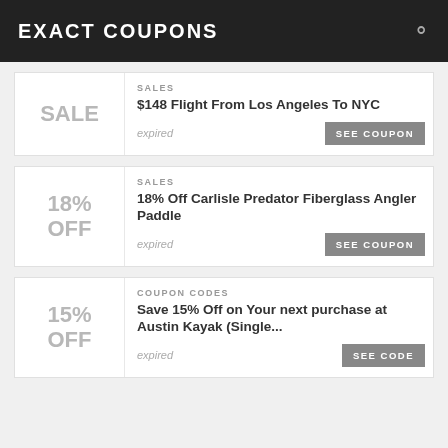EXACT COUPONS
SALES
$148 Flight From Los Angeles To NYC
expired
SEE COUPON
SALES
18% Off Carlisle Predator Fiberglass Angler Paddle
expired
SEE COUPON
COUPON CODES
Save 15% Off on Your next purchase at Austin Kayak (Single...
expired
SEE CODE